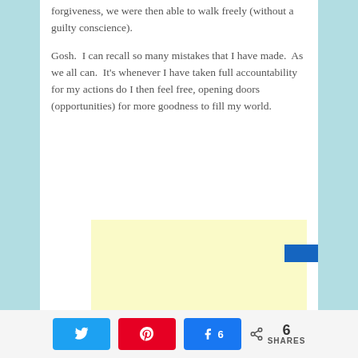forgiveness, we were then able to walk freely (without a guilty conscience).
Gosh.  I can recall so many mistakes that I have made.  As we all can.  It's whenever I have taken full accountability for my actions do I then feel free, opening doors (opportunities) for more goodness to fill my world.
[Figure (other): Yellow advertisement placeholder box]
Twitter share button, Pinterest share button, Facebook share button with count 6, Share count: 6 SHARES